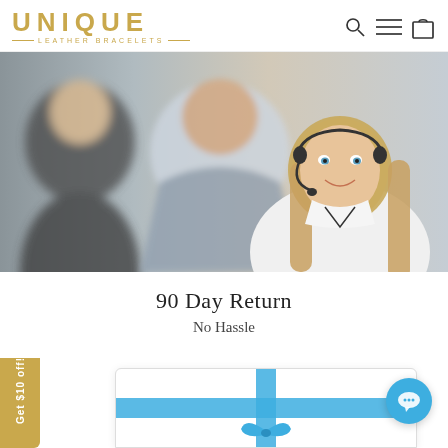UNIQUE LEATHER BRACELETS
[Figure (photo): Customer service representatives wearing headsets, smiling woman in foreground with long blonde hair]
90 Day Return
No Hassle
[Figure (illustration): Gift card with blue ribbon and bow at bottom of page]
Get $10 off!